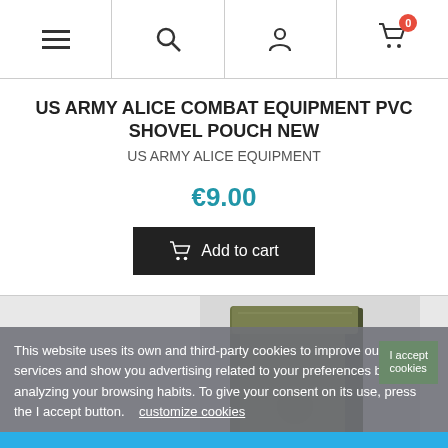Navigation bar with menu, search, account, and cart (0 items) icons
US ARMY ALICE COMBAT EQUIPMENT PVC SHOVEL POUCH NEW
US ARMY ALICE EQUIPMENT
€9.00
Add to cart
[Figure (photo): Olive drab military ALICE PVC shovel pouch, standing upright, viewed from front]
This website uses its own and third-party cookies to improve our services and show you advertising related to your preferences by analyzing your browsing habits. To give your consent on its use, press the I accept button.   customize cookies